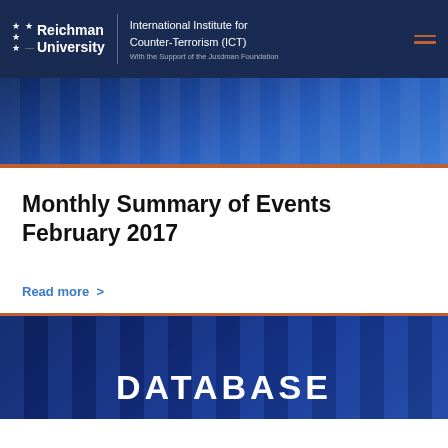Reichman University | International Institute for Counter-Terrorism (ICT) | With the Support of the Jusdman Foundation
[Figure (photo): Blue-tinted image of books or server equipment forming a decorative header band with an orange bottom border]
Monthly Summary of Events February 2017
Read more >
[Figure (photo): Blue-tinted image of server equipment or data center hardware with 'DATABASE' text overlay in white bold letters]